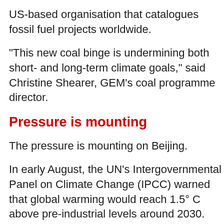US-based organisation that catalogues fossil fuel projects worldwide.
"This new coal binge is undermining both short- and long-term climate goals," said Christine Shearer, GEM's coal programme director.
Pressure is mounting
The pressure is mounting on Beijing.
In early August, the UN's Intergovernmental Panel on Climate Change (IPCC) warned that global warming would reach 1.5° C above pre-industrial levels around 2030.
That level of global warming will have devastating impacts on humanity, including more extreme weather events such as fires.